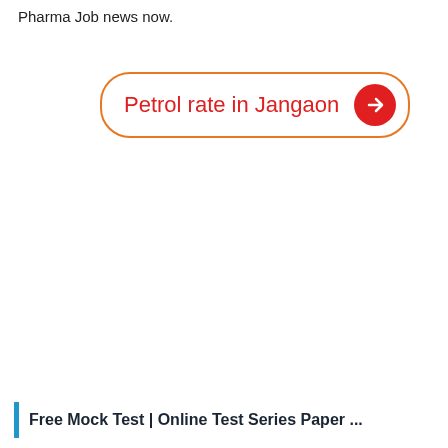Pharma Job news now.
[Figure (other): Button with orange border and red text reading 'Petrol rate in Jangaon' with a red circle arrow button on the right]
Free Mock Test | Online Test Series Paper ...